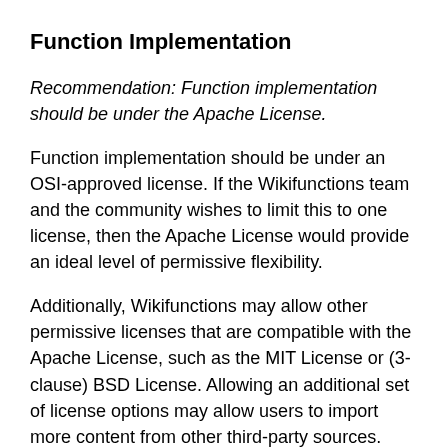Function Implementation
Recommendation: Function implementation should be under the Apache License.
Function implementation should be under an OSI-approved license. If the Wikifunctions team and the community wishes to limit this to one license, then the Apache License would provide an ideal level of permissive flexibility.
Additionally, Wikifunctions may allow other permissive licenses that are compatible with the Apache License, such as the MIT License or (3-clause) BSD License. Allowing an additional set of license options may allow users to import more content from other third-party sources. However, it would also require creating additional